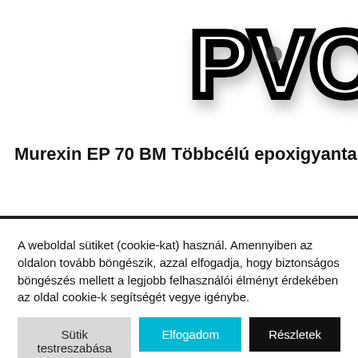[Figure (logo): Partial PVCU logo text in bold 3D style with black outline and shadow, cropped at right edge]
Murexin EP 70 BM Többcélú epoxigyanta
A weboldal sütiket (cookie-kat) használ. Amennyiben az oldalon tovább böngészik, azzal elfogadja, hogy biztonságos böngészés mellett a legjobb felhasználói élményt érdekében az oldal cookie-k segítségét vegye igénybe.
Sütik testreszabása
Elfogadom
Részletek